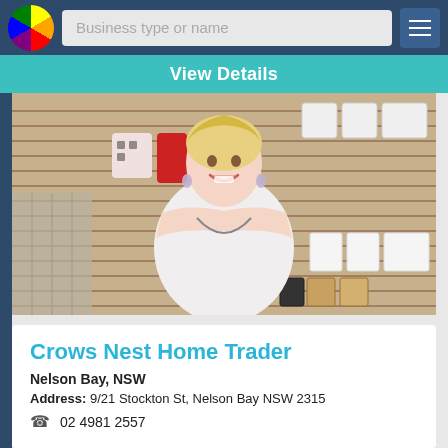Business type or name
View Details
[Figure (photo): A smiling blonde woman in a white off-shoulder top standing in a home goods retail store with shelves of products behind her.]
Crows Nest Home Trader
Nelson Bay, NSW
Address: 9/21 Stockton St, Nelson Bay NSW 2315
02 4981 2557